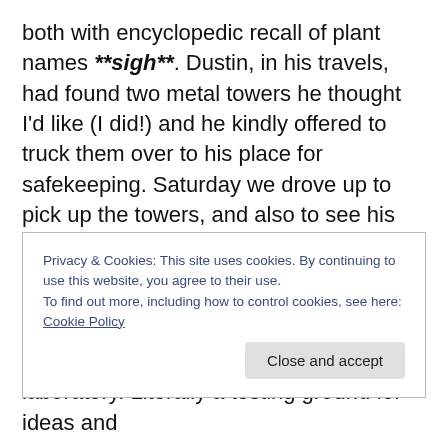both with encyclopedic recall of plant names **sigh**. Dustin, in his travels, had found two metal towers he thought I'd like (I did!) and he kindly offered to truck them over to his place for safekeeping. Saturday we drove up to pick up the towers, and also to see his garden (amazing!) and for dinner (delicious!). Paul and I lived in Long Beach for over 30 years, and although we don't visit often, we do enjoy seeing friends and the ol' neighborhoods there. Dustin's place is in one of those nabes, an ethnically diverse, densely populated part of the city with a combination of single family homes and apartment
Privacy & Cookies: This site uses cookies. By continuing to use this website, you agree to their use.
To find out more, including how to control cookies, see here: Cookie Policy
laboratory. Literally a testing ground for ideas and